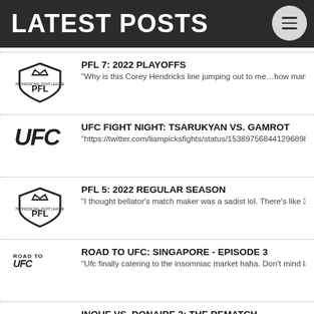LATEST POSTS
PFL 7: 2022 PLAYOFFS — "Why is this Corey Hendricks line jumping out to me…how many times de
UFC FIGHT NIGHT: TSARUKYAN VS. GAMROT — "https://twitter.com/liampicksfights/status/153897568441296898?s=21&
PFL 5: 2022 REGULAR SEASON — "I thought bellator's match maker was a sadist lol. There's like 3-4 fights
ROAD TO UFC: SINGAPORE - EPISODE 3 — "Ufc finally catering to the insomniac market haha. Don't mind late night r
INOUE VS. DONAIRE 2: THE REMATCH — "Hmm boxing on Tuesday eh? Is this a Japanese thing, never really see
UFC FIGHT NIGHT: HOLM VS. VIEIRA — "Feed him Spann next, quick raise in the rankings&nbsp;" 05.21.2022, 6: